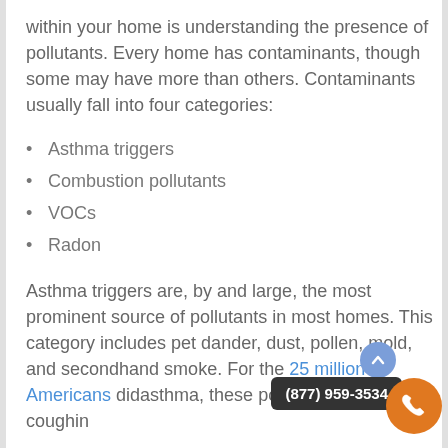within your home is understanding the presence of pollutants. Every home has contaminants, though some may have more than others. Contaminants usually fall into four categories:
Asthma triggers
Combustion pollutants
VOCs
Radon
Asthma triggers are, by and large, the most prominent source of pollutants in most homes. This category includes pet dander, dust, pollen, mold, and secondhand smoke. For the 25 million Americans did... asthma, these pollutants may cause coughing and difficulty breathing. For more than 50 million...